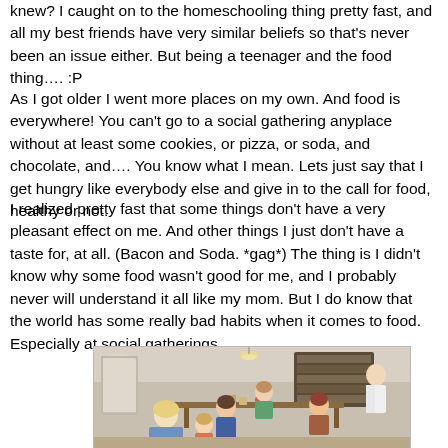knew? I caught on to the homeschooling thing pretty fast, and all my best friends have very similar beliefs so that's never been an issue either. But being a teenager and the food thing…. :P
As I got older I went more places on my own. And food is everywhere! You can't go to a social gathering anyplace without at least some cookies, or pizza, or soda, and chocolate, and…. You know what I mean. Lets just say that I get hungry like everybody else and give in to the call for food, healthy or not.
I realized pretty fast that some things don't have a very pleasant effect on me. And other things I just don't have a taste for, at all. (Bacon and Soda. *gag*) The thing is I didn't know why some food wasn't good for me, and I probably never will understand it all like my mom. But I do know that the world has some really bad habits when it comes to food. Especially at social gatherings.
[Figure (photo): A photo of a group of people, including children and adults, gathered around a table in what appears to be a dining room or kitchen area, with bookshelves visible in the background.]